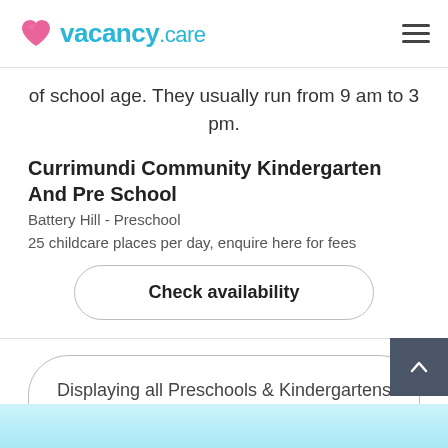vacancy.care
of school age. They usually run from 9 am to 3 pm.
Currimundi Community Kindergarten And Pre School
Battery Hill - Preschool
25 childcare places per day, enquire here for fees
Check availability
Displaying all Preschools & Kindergartens providers